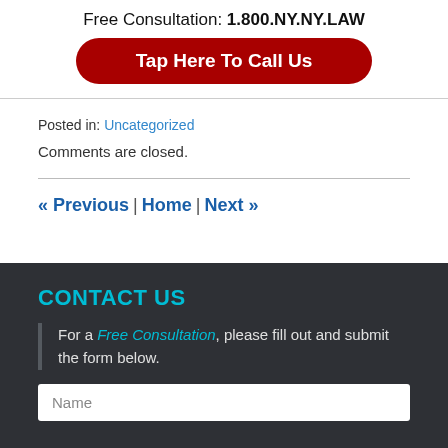Free Consultation: 1.800.NY.NY.LAW
Tap Here To Call Us
Posted in: Uncategorized
Comments are closed.
« Previous | Home | Next »
CONTACT US
For a Free Consultation, please fill out and submit the form below.
Name